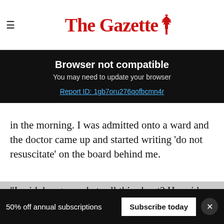The Gazette
Browser not compatible
You may need to update your browser
Report ID: 1gb7oru276qofbcmn4r
in the morning. I was admitted onto a ward and the doctor came up and started writing ‘do not resuscitate’ on the board behind me.
"I said, hang on whats all this about? He said, five years ago you were put on a ‘do not resuscitate’ order.
50% off annual subscriptions
Subscribe today